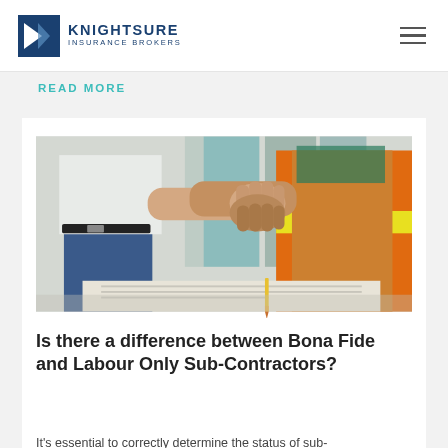KNIGHTSURE INSURANCE BROKERS
READ MORE
[Figure (photo): Two people shaking hands — one in a white shirt with a belt, the other wearing an orange safety vest with yellow reflective stripe. Background shows office binders. Construction plan documents and a pencil are visible on a table below.]
Is there a difference between Bona Fide and Labour Only Sub-Contractors?
It's essential to correctly determine the status of sub-contractors.